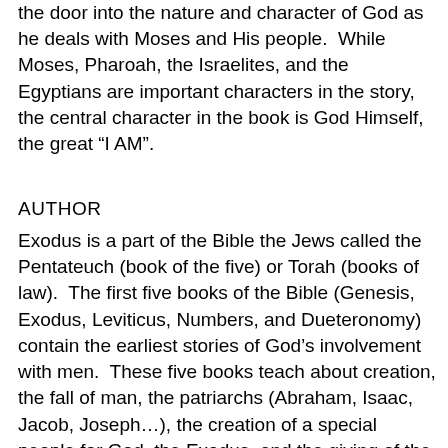the door into the nature and character of God as he deals with Moses and His people.  While Moses, Pharoah, the Israelites, and the Egyptians are important characters in the story, the central character in the book is God Himself, the great “I AM”.
AUTHOR
Exodus is a part of the Bible the Jews called the Pentateuch (book of the five) or Torah (books of law).  The first five books of the Bible (Genesis, Exodus, Leviticus, Numbers, and Dueteronomy) contain the earliest stories of God’s involvement with men.  These five books teach about creation, the fall of man, the patriarchs (Abraham, Isaac, Jacob, Joseph…), the creation of a special people for God, the Exodus, and the giving of the law of God to His people.  These first five books of the Bible were the most used and most loved books of Scripture by the Jewish people. Both the Old Testament and New Testament affirm that Moses wrote the first five books of the Bible.  A number of Old Testament passage point to Moses as the author,